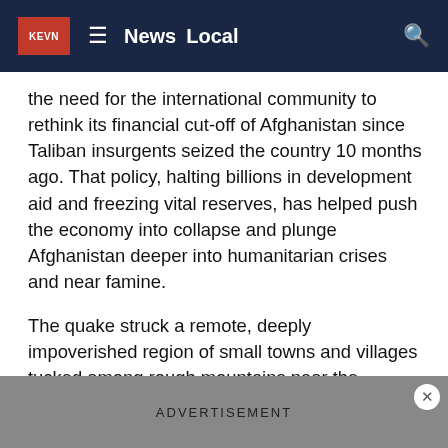KEVN  ≡  News  Local
the need for the international community to rethink its financial cut-off of Afghanistan since Taliban insurgents seized the country 10 months ago. That policy, halting billions in development aid and freezing vital reserves, has helped push the economy into collapse and plunge Afghanistan deeper into humanitarian crises and near famine.
The quake struck a remote, deeply impoverished region of small towns and villages tucked among rough mountains near the Pakistani border, collapsing stone and mud-brick homes and in some cases killing entire families. Nearly 3,000 homes were destroyed or badly damaged in Paktika and Khost provinces, state media reported.
ADVERTISEMENT